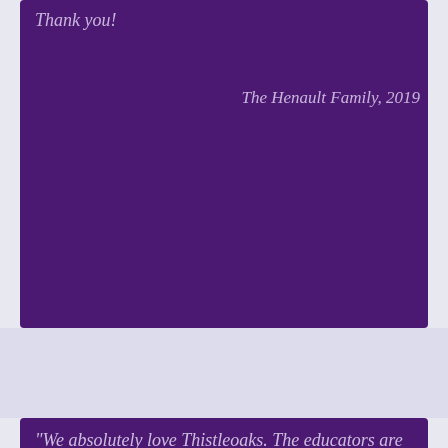Thank you!
The Henault Family, 2019
"We absolutely love Thistleoaks. The educators are kind, informed, and generally excellent. The atmosphere is homey and welcoming. Recommend to everyone!"
Emma, 2019
Contact us to book a tour and see what we can offer you and